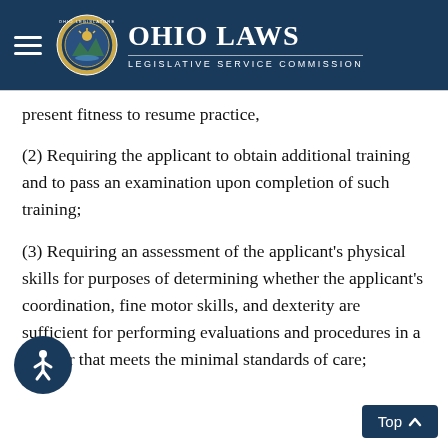Ohio Laws – Legislative Service Commission
present fitness to resume practice,
(2) Requiring the applicant to obtain additional training and to pass an examination upon completion of such training;
(3) Requiring an assessment of the applicant's physical skills for purposes of determining whether the applicant's coordination, fine motor skills, and dexterity are sufficient for performing evaluations and procedures in a manner that meets the minimal standards of care;